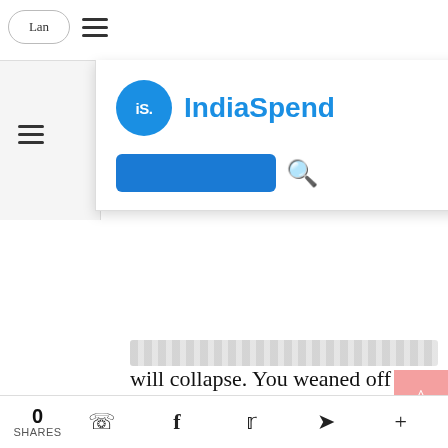[Figure (logo): IndiaSpend logo: blue circle with 'iS.' text and 'IndiaSpend' wordmark in blue]
will collapse. You weaned off the fiscal and monetary stimulus but the private sector was not in a situation to take the space vacated by the absence of stimulus. And as a consequence - I am talking of private investments - you look at the pipeline of investments everything has narrowed
0 SHARES